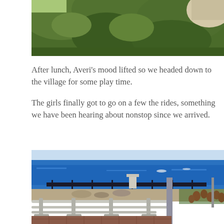[Figure (photo): Mountain landscape with dense green forest and rocky cliff at top right, taken from below looking upward.]
After lunch, Averi's mood lifted so we headed down to the village for some play time.
The girls finally got to go on a few the rides, something we have been hearing about nonstop since we arrived.
[Figure (photo): Coastal village scene with bright blue sea in the background, metal crowd control barriers in the foreground, red flowers on the right, and a promenade with tiled ground.]